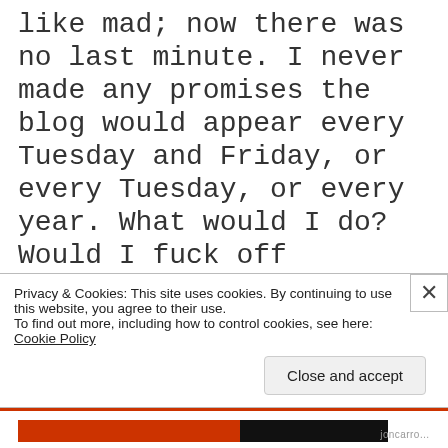like mad; now there was no last minute. I never made any promises the blog would appear every Tuesday and Friday, or every Tuesday, or every year. What would I do? Would I fuck off completely?
And what about Jon Carroll, the brand not the man? I did not know how much of my identity was tied up in being a semi-famous newspaper columnist. I
Privacy & Cookies: This site uses cookies. By continuing to use this website, you agree to their use.
To find out more, including how to control cookies, see here: Cookie Policy
Close and accept